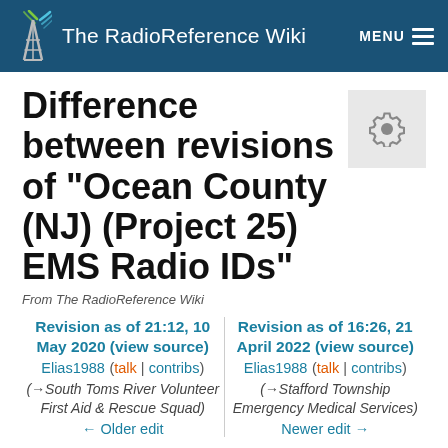The RadioReference Wiki
Difference between revisions of "Ocean County (NJ) (Project 25) EMS Radio IDs"
From The RadioReference Wiki
Revision as of 21:12, 10 May 2020 (view source)
Elias1988 (talk | contribs)
(→South Toms River Volunteer First Aid & Rescue Squad)
← Older edit
Revision as of 16:26, 21 April 2022 (view source)
Elias1988 (talk | contribs)
(→Stafford Township Emergency Medical Services)
Newer edit →
(116 intermediate revisions by the same user not